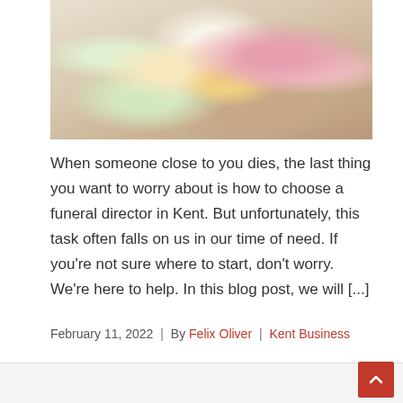[Figure (photo): Photo of a floral arrangement with pink, white, and yellow flowers including roses and ranunculus, placed near a window on a wooden surface.]
When someone close to you dies, the last thing you want to worry about is how to choose a funeral director in Kent. But unfortunately, this task often falls on us in our time of need. If you're not sure where to start, don't worry. We're here to help. In this blog post, we will [...]
February 11, 2022  |  By Felix Oliver  |  Kent Business